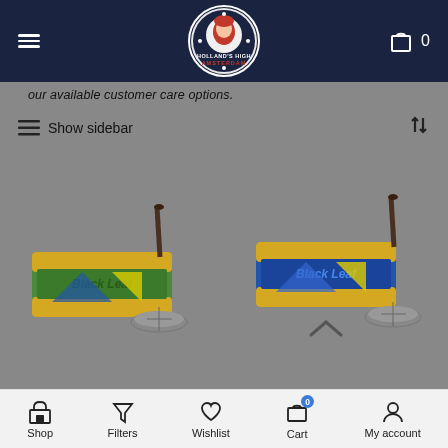Holland's High Amsterdam - Navigation bar with logo, hamburger menu, and cart (0)
our available customer care options.
≡ Show sidebar ↑↓
[Figure (photo): Product photo: Black Leaf rolling papers box with a pipe/smoking accessory, green and yellow packaging on grey background]
[Figure (photo): Product photo: Black Leaf rolling papers box with a pipe/smoking accessory, blue and yellow packaging on grey background, with scroll-up chevron]
Shop | Filters | Wishlist | Cart (0) | My account